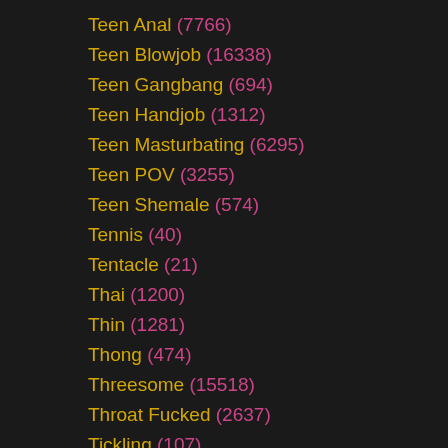Teen Anal (7766)
Teen Blowjob (16338)
Teen Gangbang (694)
Teen Handjob (1312)
Teen Masturbating (6295)
Teen POV (3255)
Teen Shemale (574)
Tennis (40)
Tentacle (21)
Thai (1200)
Thin (1281)
Thong (474)
Threesome (15518)
Throat Fucked (2637)
Tickling (107)